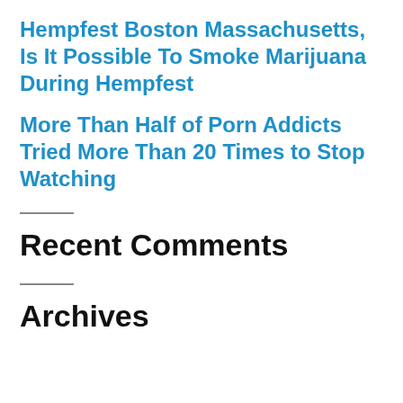Hempfest Boston Massachusetts, Is It Possible To Smoke Marijuana During Hempfest
More Than Half of Porn Addicts Tried More Than 20 Times to Stop Watching
Recent Comments
Archives